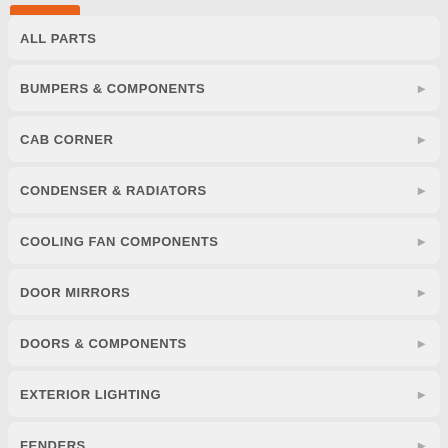ALL PARTS
BUMPERS & COMPONENTS
CAB CORNER
CONDENSER & RADIATORS
COOLING FAN COMPONENTS
DOOR MIRRORS
DOORS & COMPONENTS
EXTERIOR LIGHTING
FENDERS